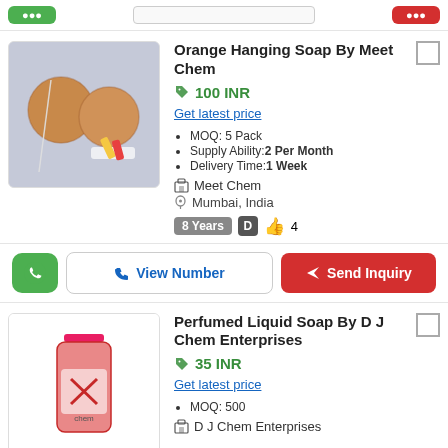Orange Hanging Soap By Meet Chem
100 INR
Get latest price
MOQ: 5 Pack
Supply Ability:2 Per Month
Delivery Time:1 Week
Meet Chem
Mumbai, India
8 Years  D  👍 4
View Number  Send Inquiry
Perfumed Liquid Soap By D J Chem Enterprises
35 INR
Get latest price
MOQ: 500
D J Chem Enterprises